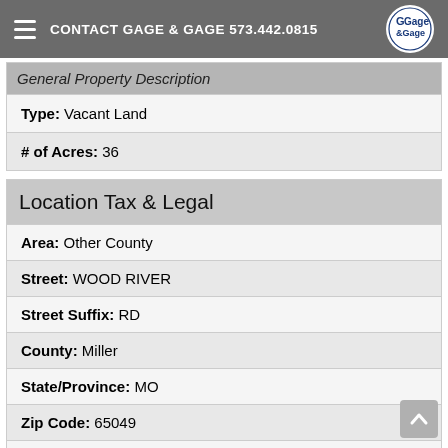CONTACT GAGE & GAGE 573.442.0815
General Property Description
| Type: Vacant Land |
| # of Acres: 36 |
Location Tax & Legal
| Area: Other County |
| Street: WOOD RIVER |
| Street Suffix: RD |
| County: Miller |
| State/Province: MO |
| Zip Code: 65049 |
| Township: Select One |